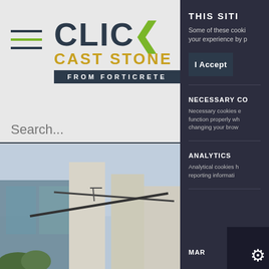[Figure (screenshot): Click Cast Stone from Forticrete website header with hamburger menu and logo]
[Figure (photo): Modern building exterior with cast stone cladding, metal railing and glass windows]
THIS SITE
Some of these cooki your experience by p
I Accept
NECESSARY CO
Necessary cookies e function properly wh changing your brow
ANALYTICS
Analytical cookies h reporting informati
MAR